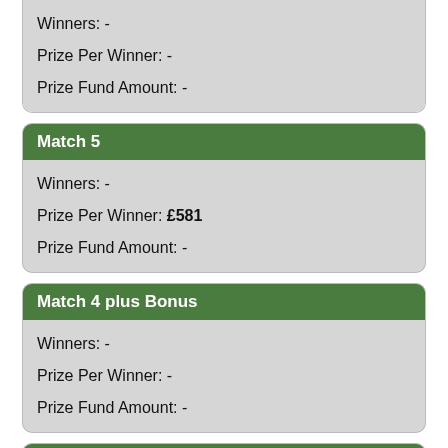Winners: -
Prize Per Winner: -
Prize Fund Amount: -
Match 5
Winners: -
Prize Per Winner: £581
Prize Fund Amount: -
Match 4 plus Bonus
Winners: -
Prize Per Winner: -
Prize Fund Amount: -
Match 4
Winners: -
Prize Per Winner: £25